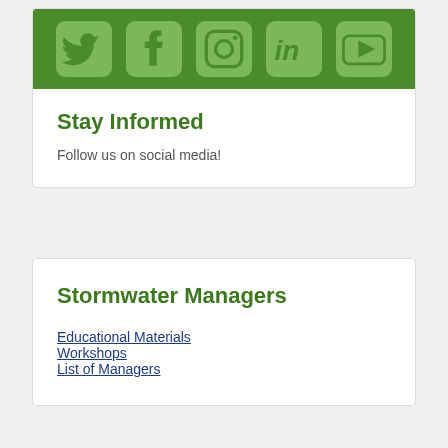[Figure (infographic): Social media icons bar with Twitter, Facebook, Instagram, LinkedIn, and YouTube icons on a green background]
Stay Informed
Follow us on social media!
Stormwater Managers
Educational Materials
Workshops
List of Managers